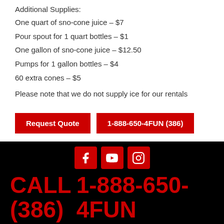Additional Supplies:
One quart of sno-cone juice – $7
Pour spout for 1 quart bottles – $1
One gallon of sno-cone juice – $12.50
Pumps for 1 gallon bottles – $4
60 extra cones – $5
Please note that we do not supply ice for our rentals
Request Quote | 1-888-650-4FUN (386)
[Figure (infographic): Social media icons for Facebook, YouTube, and Instagram on black background with red icon boxes]
CALL 1-888-650-4FUN (386)
Bringing FUN to San Jose, the Central Coast